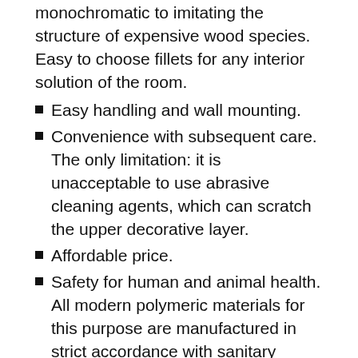monochromatic to imitating the structure of expensive wood species. Easy to choose fillets for any interior solution of the room.
Easy handling and wall mounting.
Convenience with subsequent care. The only limitation: it is unacceptable to use abrasive cleaning agents, which can scratch the upper decorative layer.
Affordable price.
Safety for human and animal health. All modern polymeric materials for this purpose are manufactured in strict accordance with sanitary norms and requirements.
Varieties